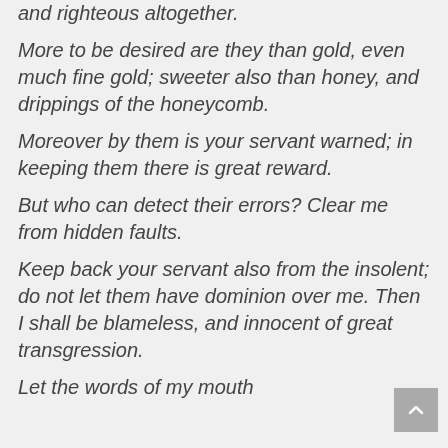and righteous altogether.
More to be desired are they than gold, even much fine gold; sweeter also than honey, and drippings of the honeycomb.
Moreover by them is your servant warned; in keeping them there is great reward.
But who can detect their errors? Clear me from hidden faults.
Keep back your servant also from the insolent; do not let them have dominion over me. Then I shall be blameless, and innocent of great transgression.
Let the words of my mouth